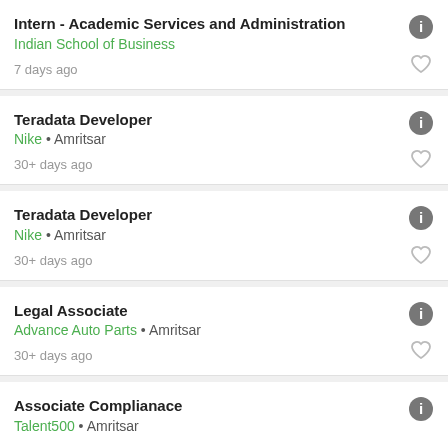Intern - Academic Services and Administration
Indian School of Business
7 days ago
Teradata Developer
Nike • Amritsar
30+ days ago
Teradata Developer
Nike • Amritsar
30+ days ago
Legal Associate
Advance Auto Parts • Amritsar
30+ days ago
Associate Complianace
Talent500 • Amritsar